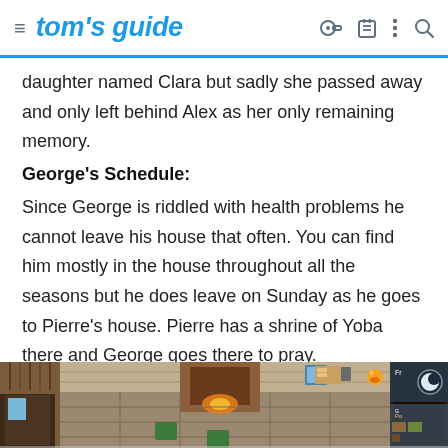tom's guide
daughter named Clara but sadly she passed away and only left behind Alex as her only remaining memory.
George's Schedule:
Since George is riddled with health problems he cannot leave his house that often. You can find him mostly in the house throughout all the seasons but he does leave on Sunday as he goes to Pierre's house. Pierre has a shrine of Yoba there and George goes there to pray.
[Figure (screenshot): Stardew Valley game screenshot showing the interior of a house with a fireplace, wooden walls, and game UI elements in the corners.]